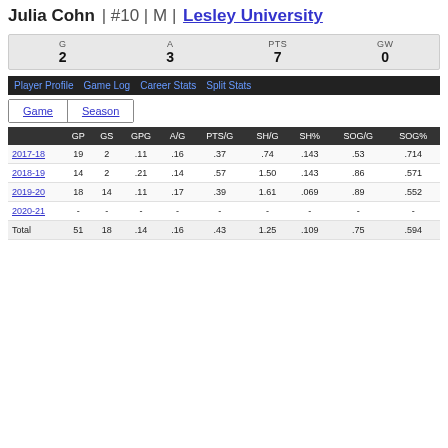Julia Cohn | #10 | M | Lesley University
|  | G | A | PTS | GW |
| --- | --- | --- | --- | --- |
|  | 2 | 3 | 7 | 0 |
Player Profile | Game Log | Career Stats | Split Stats
Game | Season
|  | GP | GS | GPG | A/G | PTS/G | SH/G | SH% | SOG/G | SOG% |
| --- | --- | --- | --- | --- | --- | --- | --- | --- | --- |
| 2017-18 | 19 | 2 | .11 | .16 | .37 | .74 | .143 | .53 | .714 |
| 2018-19 | 14 | 2 | .21 | .14 | .57 | 1.50 | .143 | .86 | .571 |
| 2019-20 | 18 | 14 | .11 | .17 | .39 | 1.61 | .069 | .89 | .552 |
| 2020-21 | - | - | - | - | - | - | - | - | - |
| Total | 51 | 18 | .14 | .16 | .43 | 1.25 | .109 | .75 | .594 |